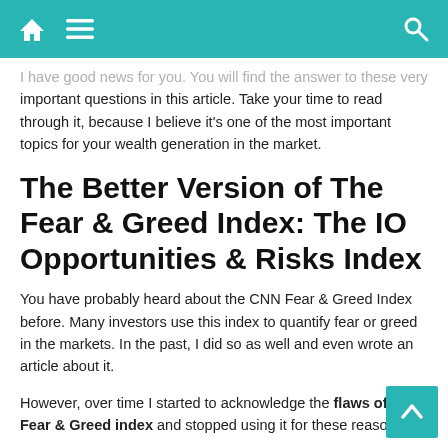I have good news for you. You will find the answer to these very important questions in this article. Take your time to read through it, because I believe it's one of the most important topics for your wealth generation in the market.
The Better Version of The Fear & Greed Index: The IO Opportunities & Risks Index
You have probably heard about the CNN Fear & Greed Index before. Many investors use this index to quantify fear or greed in the markets. In the past, I did so as well and even wrote an article about it.
However, over time I started to acknowledge the flaws of the Fear & Greed index and stopped using it for these reasons: